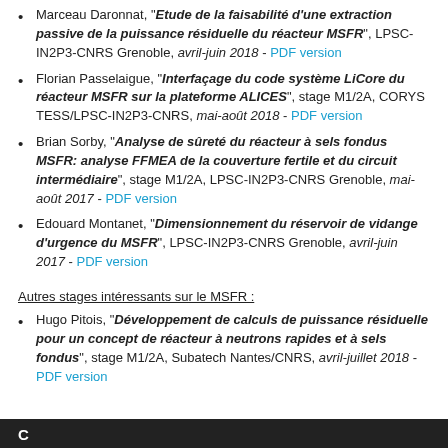Marceau Daronnat, "Etude de la faisabilité d'une extraction passive de la puissance résiduelle du réacteur MSFR", LPSC-IN2P3-CNRS Grenoble, avril-juin 2018 - PDF version
Florian Passelaigue, "Interfaçage du code système LiCore du réacteur MSFR sur la plateforme ALICES", stage M1/2A, CORYS TESS/LPSC-IN2P3-CNRS, mai-août 2018 - PDF version
Brian Sorby, "Analyse de sûreté du réacteur à sels fondus MSFR: analyse FFMEA de la couverture fertile et du circuit intermédiaire", stage M1/2A, LPSC-IN2P3-CNRS Grenoble, mai-août 2017 - PDF version
Edouard Montanet, "Dimensionnement du réservoir de vidange d'urgence du MSFR", LPSC-IN2P3-CNRS Grenoble, avril-juin 2017 - PDF version
Autres stages intéressants sur le MSFR :
Hugo Pitois, "Développement de calculs de puissance résiduelle pour un concept de réacteur à neutrons rapides et à sels fondus", stage M1/2A, Subatech Nantes/CNRS, avril-juillet 2018 - PDF version